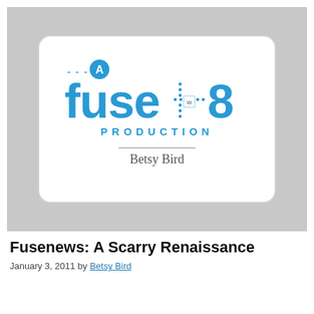[Figure (logo): Fuse #8 Production logo — a blue stylized text logo reading 'A fuse #8 PRODUCTION' with 'Betsy Bird' beneath a horizontal rule, on a white rounded-rectangle card set against a gray background.]
Fusenews: A Scarry Renaissance
January 3, 2011 by Betsy Bird